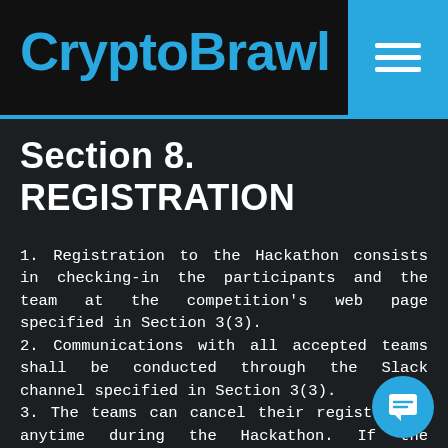CryptoBrawl
Section 8. REGISTRATION
1. Registration to the Hackathon consists in checking-in the participants and the team at the competition's web page specified in Section 3(3).
2. Communications with all accepted teams shall be conducted through the Slack channel specified in Section 3(3).
3. The teams can cancel their registration anytime during the Hackathon. If the cancellation takes place during the event means all team members waive their rights, including the right to the final classification.